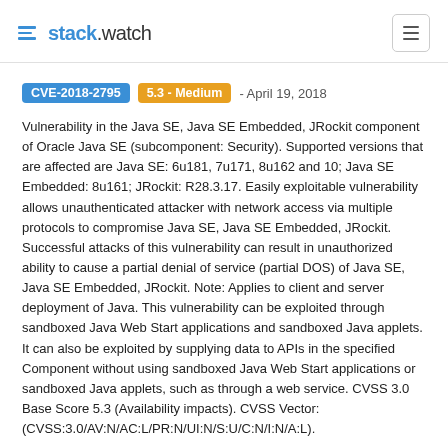stack.watch
CVE-2018-2795  5.3 - Medium  - April 19, 2018
Vulnerability in the Java SE, Java SE Embedded, JRockit component of Oracle Java SE (subcomponent: Security). Supported versions that are affected are Java SE: 6u181, 7u171, 8u162 and 10; Java SE Embedded: 8u161; JRockit: R28.3.17. Easily exploitable vulnerability allows unauthenticated attacker with network access via multiple protocols to compromise Java SE, Java SE Embedded, JRockit. Successful attacks of this vulnerability can result in unauthorized ability to cause a partial denial of service (partial DOS) of Java SE, Java SE Embedded, JRockit. Note: Applies to client and server deployment of Java. This vulnerability can be exploited through sandboxed Java Web Start applications and sandboxed Java applets. It can also be exploited by supplying data to APIs in the specified Component without using sandboxed Java Web Start applications or sandboxed Java applets, such as through a web service. CVSS 3.0 Base Score 5.3 (Availability impacts). CVSS Vector: (CVSS:3.0/AV:N/AC:L/PR:N/UI:N/S:U/C:N/I:N/A:L).
Vulnerability in the Java SE, Java SE